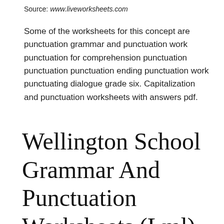Source: www.liveworksheets.com
Some of the worksheets for this concept are punctuation grammar and punctuation work punctuation for comprehension punctuation punctuation punctuation ending punctuation work punctuating dialogue grade six. Capitalization and punctuation worksheets with answers pdf.
Wellington School Grammar And Punctuation Worksheets (Lml) 1.